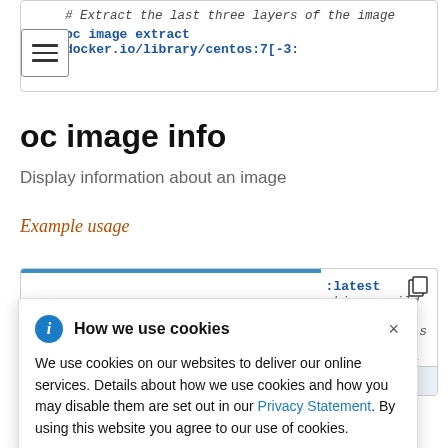[Figure (screenshot): Code box at top showing a comment '# Extract the last three layers of the image' and a command 'oc image extract docker.io/library/centos:7[-3:' with a hamburger menu icon overlay]
oc image info
Display information about an image
Example usage
[Figure (screenshot): Code box showing example oc image info commands with partial text visible: ':latest', 'ching a wild', ':4.*', 'rrored to dis', 'ary/busybox:', 'S image to s', and bottom command 'oc image info library/busybox:latest --filter-b']
How we use cookies

We use cookies on our websites to deliver our online services. Details about how we use cookies and how you may disable them are set out in our Privacy Statement. By using this website you agree to our use of cookies.